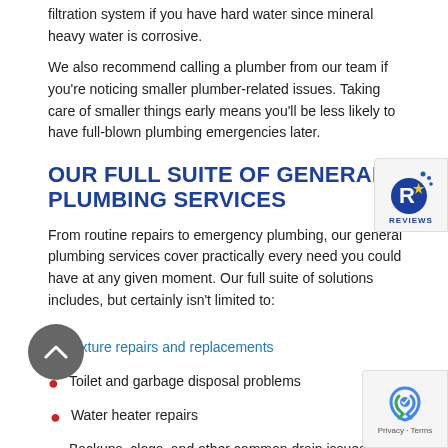filtration system if you have hard water since mineral heavy water is corrosive.
We also recommend calling a plumber from our team if you're noticing smaller plumber-related issues. Taking care of smaller things early means you'll be less likely to have full-blown plumbing emergencies later.
OUR FULL SUITE OF GENERAL PLUMBING SERVICES
From routine repairs to emergency plumbing, our general plumbing services cover practically every need you could have at any given moment. Our full suite of solutions includes, but certainly isn't limited to:
Fixture repairs and replacements
Toilet and garbage disposal problems
Water heater repairs
Backups, clogs, and other common drain issues